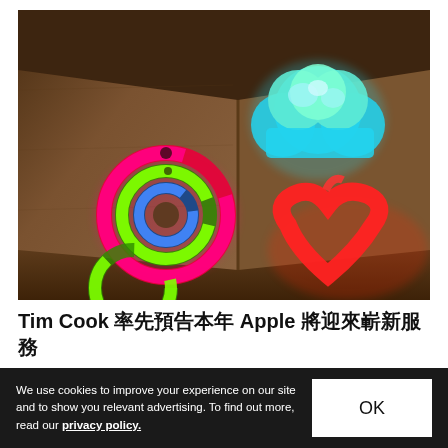[Figure (photo): A 3D rendered room corner with wooden walls showing Apple service icons projected as glowing lights: Activity rings (red, green, blue), iCloud logo (cyan cloud shape), a heart shape (red), and a partial green ring, all glowing on a warm brown wooden surface.]
Tim Cook 率先預告本年 Apple 將迎來嶄新服務
We use cookies to improve your experience on our site and to show you relevant advertising. To find out more, read our privacy policy.